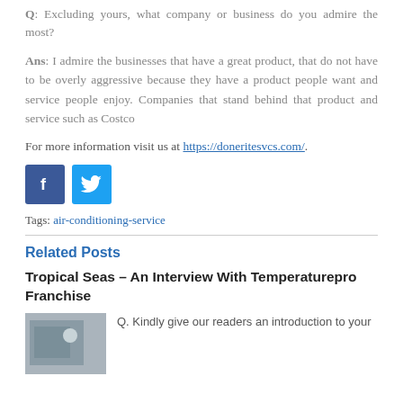Q: Excluding yours, what company or business do you admire the most?
Ans: I admire the businesses that have a great product, that do not have to be overly aggressive because they have a product people want and service people enjoy. Companies that stand behind that product and service such as Costco
For more information visit us at https://doneritesvcs.com/.
[Figure (other): Facebook and Twitter social media icons]
Tags: air-conditioning-service
Related Posts
Tropical Seas – An Interview With Temperaturepro Franchise
Q. Kindly give our readers an introduction to your